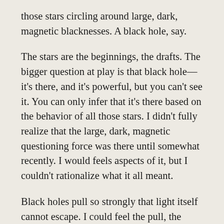those stars circling around large, dark, magnetic blacknesses. A black hole, say.
The stars are the beginnings, the drafts. The bigger question at play is that black hole—it's there, and it's powerful, but you can't see it. You can only infer that it's there based on the behavior of all those stars. I didn't fully realize that the large, dark, magnetic questioning force was there until somewhat recently. I would feels aspects of it, but I couldn't rationalize what it all meant.
Black holes pull so strongly that light itself cannot escape. I could feel the pull, the powerful gravity—I told you, decades of